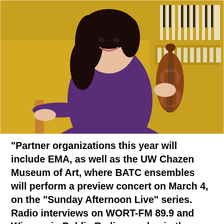[Figure (photo): A smiling woman with dark hair wearing a purple top, holding a violin, seated in front of a piano with yellow/gold keys visible in the background.]
“Partner organizations this year will include EMA, as well as the UW Chazen Museum of Art, where BATC ensembles will perform a preview concert on March 4, on the “Sunday Afternoon Live” series.  Radio interviews on WORT-FM 89.9 and Wisconsin Public Radio are also in the works. Details will be announced